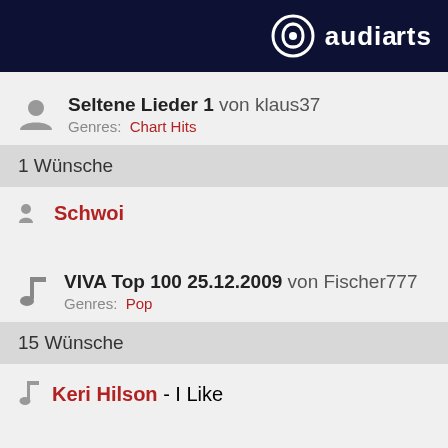[Figure (logo): audiarts logo with circle-A icon and white text on dark navy background]
Seltene Lieder 1  von klaus37
Genres:  Chart Hits
1 Wünsche
Schwoi
VIVA Top 100 25.12.2009  von Fischer777
Genres:  Pop
15 Wünsche
Keri Hilson - I Like